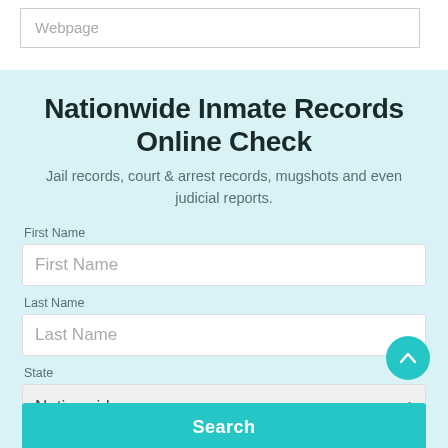Webpage
Nationwide Inmate Records Online Check
Jail records, court & arrest records, mugshots and even judicial reports.
First Name
First Name
Last Name
Last Name
State
Nationwide
Search